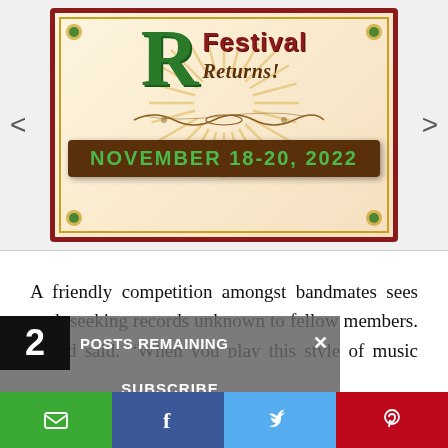[Figure (illustration): Festival poster for 'R Festival Returns!' with green decorative letter R, brown/red border with gold trim, starburst background, ornamental scroll, and a brown banner reading 'NOVEMBER 18-20, 2022' in green text. Navigation arrows on left and right sides.]
A friendly competition amongst bandmates sees each seeking records unknown to fellow members. David said: “When you play this style of music you spend a lot of time playing in pick-up bands, going back to a fairly standard repertoire, and not playing that is a key part of [the music]. However we do play
2 POSTS REMAINING ×
SUBSCRIBE